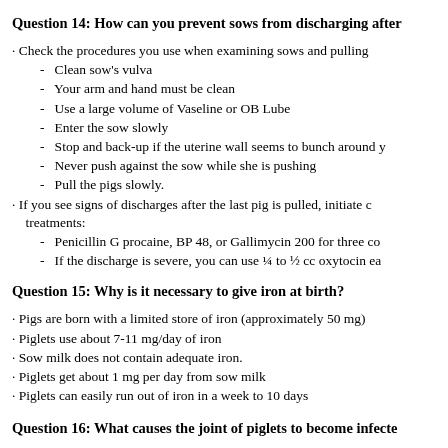Question 14: How can you prevent sows from discharging after
· Check the procedures you use when examining sows and pulling
- Clean sow's vulva
- Your arm and hand must be clean
- Use a large volume of Vaseline or OB Lube
- Enter the sow slowly
- Stop and back-up if the uterine wall seems to bunch around y
- Never push against the sow while she is pushing
- Pull the pigs slowly.
· If you see signs of discharges after the last pig is pulled, initiate c treatments:
- Penicillin G procaine, BP 48, or Gallimycin 200 for three co
- If the discharge is severe, you can use ¼ to ½ cc oxytocin ea
Question 15: Why is it necessary to give iron at birth?
· Pigs are born with a limited store of iron (approximately 50 mg)
· Piglets use about 7-11 mg/day of iron
· Sow milk does not contain adequate iron.
· Piglets get about 1 mg per day from sow milk
· Piglets can easily run out of iron in a week to 10 days
Question 16: What causes the joint of piglets to become infecte